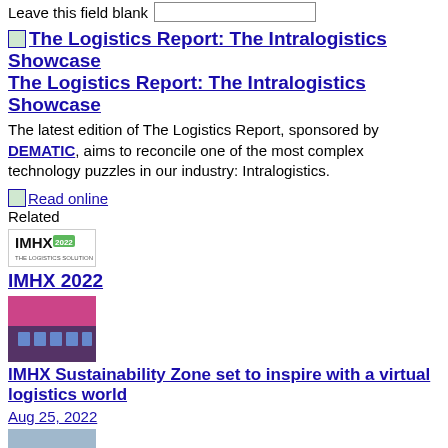Leave this field blank
[Figure (screenshot): Input field for spam protection]
[Figure (logo): The Logistics Report: The Intralogistics Showcase thumbnail image]
The Logistics Report: The Intralogistics Showcase
The latest edition of The Logistics Report, sponsored by DEMATIC, aims to reconcile one of the most complex technology puzzles in our industry: Intralogistics.
[Figure (screenshot): The Logistics Report: The Intralogistics Showcase image link]
Read online
Related
[Figure (logo): IMHX 2022 - The Logistics Solutions Show logo]
IMHX 2022
[Figure (photo): Photo of seating area with purple chairs and stage lighting]
IMHX Sustainability Zone set to inspire with a virtual logistics world
Aug 25, 2022
[Figure (photo): Photo of Prologis big box warehouse building exterior]
Prologis big box breaks BREEAM record
Aug 24, 2022